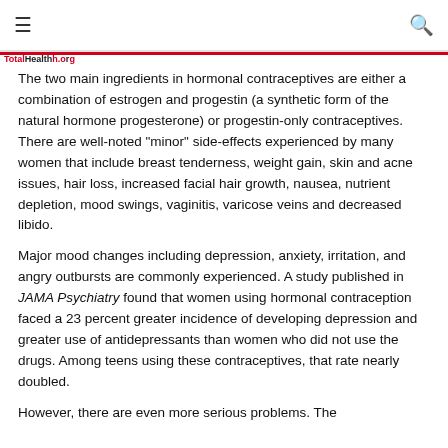≡  [search]
The two main ingredients in hormonal contraceptives are either a combination of estrogen and progestin (a synthetic form of the natural hormone progesterone) or progestin-only contraceptives. There are well-noted "minor" side-effects experienced by many women that include breast tenderness, weight gain, skin and acne issues, hair loss, increased facial hair growth, nausea, nutrient depletion, mood swings, vaginitis, varicose veins and decreased libido.
Major mood changes including depression, anxiety, irritation, and angry outbursts are commonly experienced. A study published in JAMA Psychiatry found that women using hormonal contraception faced a 23 percent greater incidence of developing depression and greater use of antidepressants than women who did not use the drugs. Among teens using these contraceptives, that rate nearly doubled.
However, there are even more serious problems. The